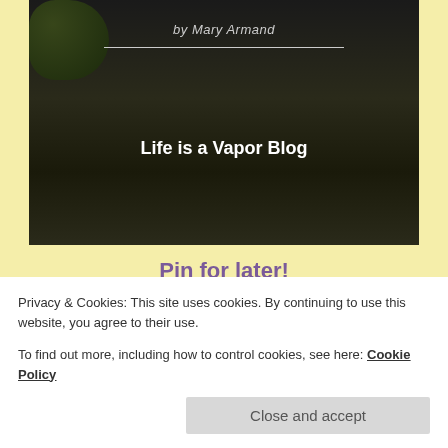[Figure (photo): Dark background blog header image with author credit 'by Mary Armand', a horizontal white dividing line, and blog title 'Life is a Vapor Blog' in bold white text. Dark foliage visible in upper left corner.]
Pin for later!
[Figure (photo): Photograph of a woman with brown/auburn hair, partially visible, against a background of horizontal blinds or slats and a white wall/door frame.]
Privacy & Cookies: This site uses cookies. By continuing to use this website, you agree to their use.
To find out more, including how to control cookies, see here: Cookie Policy
Close and accept